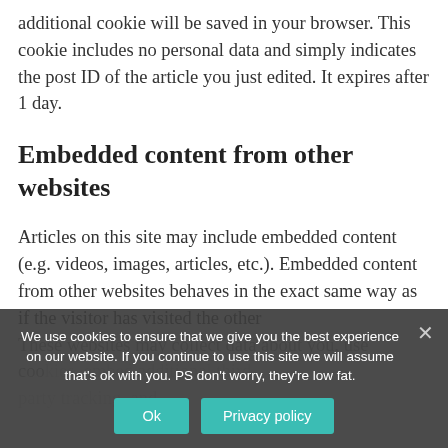additional cookie will be saved in your browser. This cookie includes no personal data and simply indicates the post ID of the article you just edited. It expires after 1 day.
Embedded content from other websites
Articles on this site may include embedded content (e.g. videos, images, articles, etc.). Embedded content from other websites behaves in the exact same way as if the visitor has visited the other
These websites may collect data about you, use cookies, embed additional third-party tracking, and
We use cookies to ensure that we give you the best experience on our website. If you continue to use this site we will assume that's ok with you. PS don't worry, they're low fat.